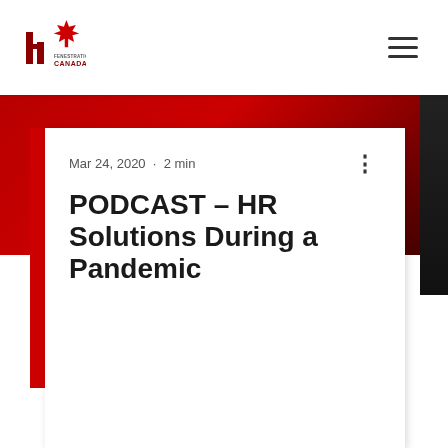[Figure (logo): Fenestration Canada logo with red maple leaf and building icon, text reads FENESTRATION CANADA]
[Figure (other): Hamburger menu icon (three horizontal lines)]
[Figure (photo): Red abstract background banner behind white card]
Mar 24, 2020  ·  2 min
PODCAST – HR Solutions During a Pandemic